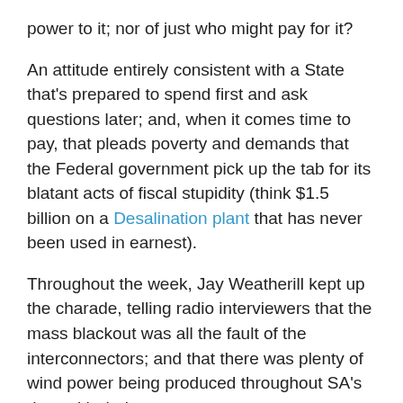power to it; nor of just who might pay for it?
An attitude entirely consistent with a State that's prepared to spend first and ask questions later; and, when it comes time to pay, that pleads poverty and demands that the Federal government pick up the tab for its blatant acts of fiscal stupidity (think $1.5 billion on a Desalination plant that has never been used in earnest).
Throughout the week, Jay Weatherill kept up the charade, telling radio interviewers that the mass blackout was all the fault of the interconnectors; and that there was plenty of wind power being produced throughout SA's date with darkness.
SA's deluded Premier wasn't alone in efforts to protect SA's 17 wind farms from any proper scrutiny.